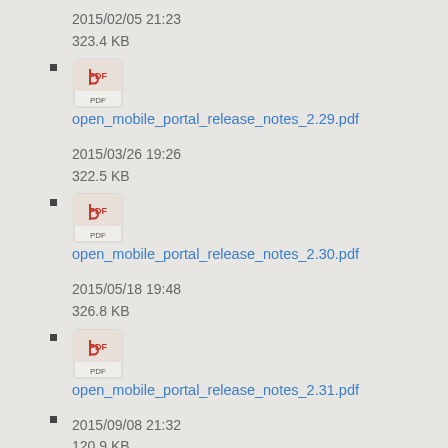2015/02/05 21:23
323.4 KB
open_mobile_portal_release_notes_2.29.pdf
2015/03/26 19:26
322.5 KB
open_mobile_portal_release_notes_2.30.pdf
2015/05/18 19:48
326.8 KB
open_mobile_portal_release_notes_2.31.pdf
2015/09/08 21:32
120.9 KB